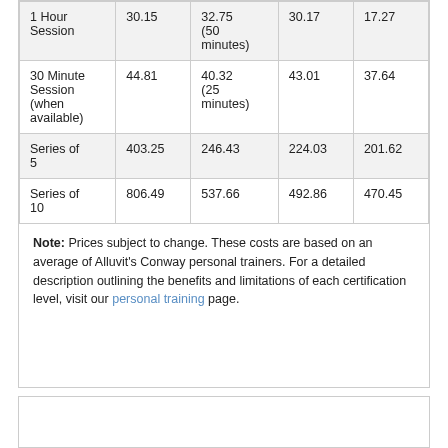|  |  |  |  |  |
| --- | --- | --- | --- | --- |
| 1 Hour Session | 30.15 | 32.75 (50 minutes) | 30.17 | 17.27 |
| 30 Minute Session (when available) | 44.81 | 40.32 (25 minutes) | 43.01 | 37.64 |
| Series of 5 | 403.25 | 246.43 | 224.03 | 201.62 |
| Series of 10 | 806.49 | 537.66 | 492.86 | 470.45 |
Note: Prices subject to change. These costs are based on an average of Alluvit's Conway personal trainers. For a detailed description outlining the benefits and limitations of each certification level, visit our personal training page.